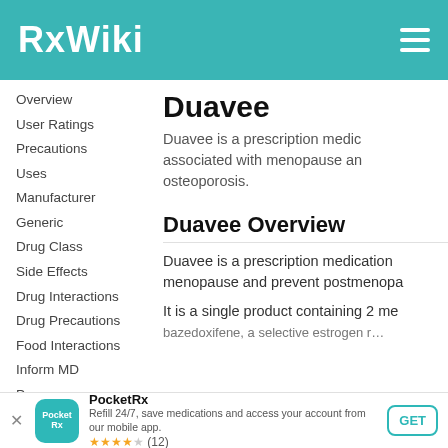RxWiki
Overview
User Ratings
Precautions
Uses
Manufacturer
Generic
Drug Class
Side Effects
Drug Interactions
Drug Precautions
Food Interactions
Inform MD
Pregnancy
Duavee
Duavee is a prescription medic… associated with menopause an… osteoporosis.
Duavee Overview
Duavee is a prescription medication… menopause and prevent postmenopa…
It is a single product containing 2 me… bazedoxifene, a selective estrogen r…
PocketRx
Refill 24/7, save medications and access your account from our mobile app.
★★★★☆ (12)